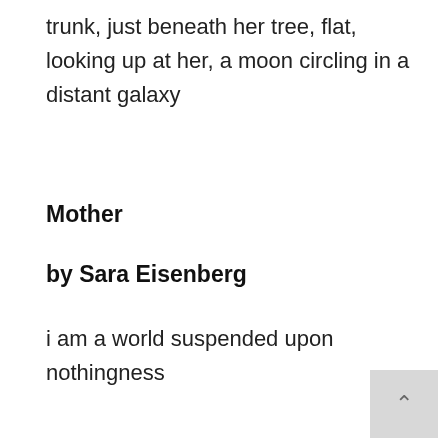trunk, just beneath her tree, flat, looking up at her, a moon circling in a distant galaxy
Mother
by Sara Eisenberg
i am a world suspended upon nothingness